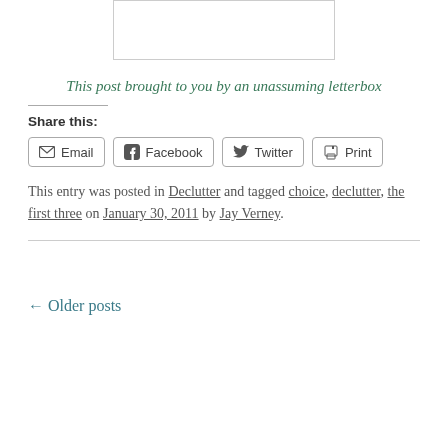[Figure (other): Partial image of a letterbox, cropped at the top of the page]
This post brought to you by an unassuming letterbox
Share this:
Email  Facebook  Twitter  Print
This entry was posted in Declutter and tagged choice, declutter, the first three on January 30, 2011 by Jay Verney.
← Older posts